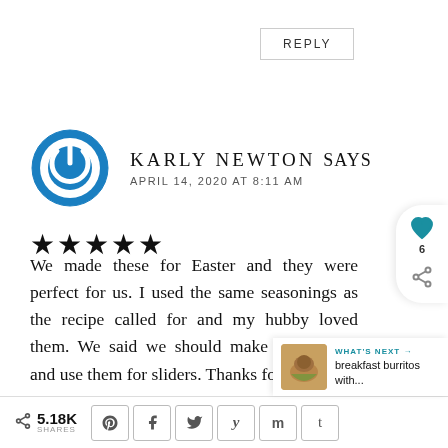REPLY
KARLY NEWTON says
APRIL 14, 2020 AT 8:11 AM
★★★★★
We made these for Easter and they were perfect for us. I used the same seasonings as the recipe called for and my hubby loved them. We said we should make them again and use them for sliders. Thanks for the recipe
5.18K SHARES